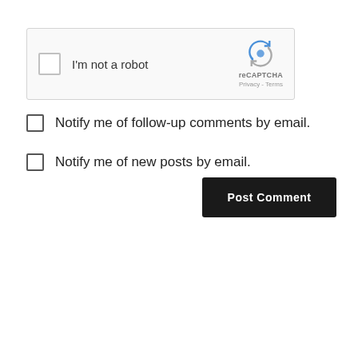[Figure (screenshot): reCAPTCHA widget with checkbox labeled 'I'm not a robot' and reCAPTCHA logo with Privacy - Terms text]
Notify me of follow-up comments by email.
Notify me of new posts by email.
Post Comment